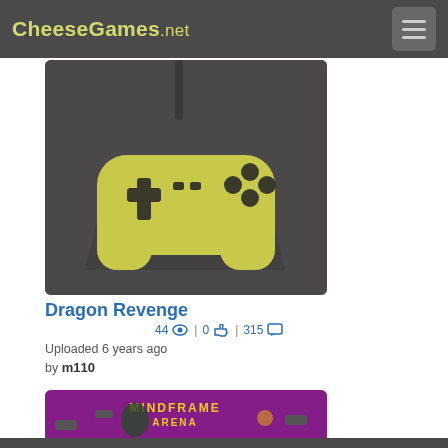CheeseGames.net
[Figure (illustration): Game controller icon (yellow/olive colored gamepad) on dark gray background — thumbnail for Dragon Revenge game]
Dragon Revenge
44 views | 0 likes | 315 comments
Uploaded 6 years ago
by m110
[Figure (illustration): Mindframe Arena game cover art — animated character in black suit on purple/magenta background with floating platforms and game characters, title text 'MINDFRAME ARENA']
Mindframe Arena